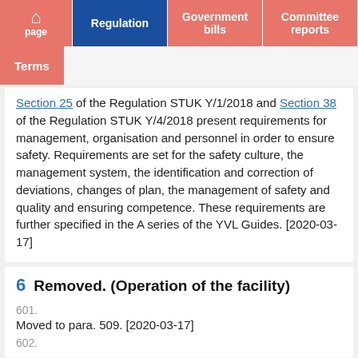home page | Regulation | Government bills | Committee reports | Terms
Section 25 of the Regulation STUK Y/1/2018 and Section 38 of the Regulation STUK Y/4/2018 present requirements for management, organisation and personnel in order to ensure safety. Requirements are set for the safety culture, the management system, the identification and correction of deviations, changes of plan, the management of safety and quality and ensuring competence. These requirements are further specified in the A series of the YVL Guides. [2020-03-17]
6  Removed. (Operation of the facility)
601.
Moved to para. 509. [2020-03-17]
602.